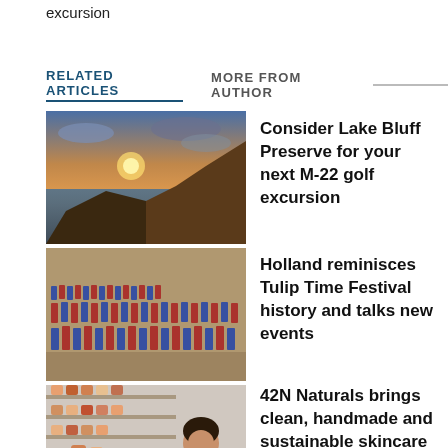excursion
RELATED ARTICLES   MORE FROM AUTHOR
[Figure (photo): Sunset over lake with cliff]
Consider Lake Bluff Preserve for your next M-22 golf excursion
[Figure (photo): Group of people in traditional Dutch costumes at Tulip Time Festival]
Holland reminisces Tulip Time Festival history and talks new events
[Figure (photo): Woman standing in a natural skincare shop]
42N Naturals brings clean, handmade and sustainable skincare to the lakeshore